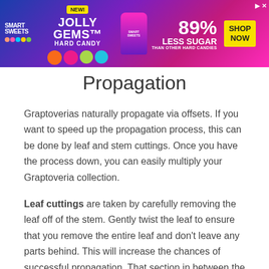[Figure (photo): Smart Sweets Jolly Gems Hard Candy advertisement banner with colorful candy imagery, 89% Less Sugar claim, and Shop Now button]
Propagation
Graptoverias naturally propagate via offsets. If you want to speed up the propagation process, this can be done by leaf and stem cuttings. Once you have the process down, you can easily multiply your Graptoveria collection.
Leaf cuttings are taken by carefully removing the leaf off of the stem. Gently twist the leaf to ensure that you remove the entire leaf and don't leave any parts behind. This will increase the chances of successful propagation. That section in between the leaf and stem is what enables the cutting to grow roots.